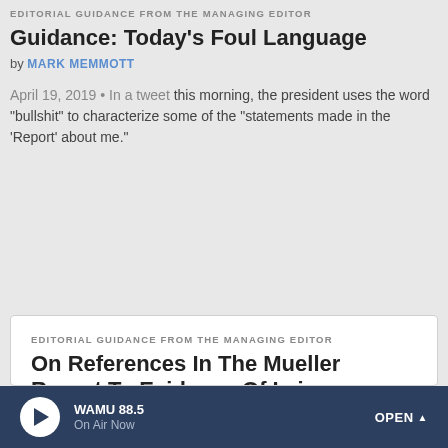EDITORIAL GUIDANCE FROM THE MANAGING EDITOR
Guidance: Today’s Foul Language
by MARK MEMMOTT
April 19, 2019 • In a tweet this morning, the president uses the word “bullshit” to characterize some of the “statements made in the ‘Report’ about me.”
EDITORIAL GUIDANCE FROM THE MANAGING EDITOR
On References In The Mueller Report To Evidence Of Lying
by MARK MEMMOTT
April 19, 2019 • When reporting about this, frame it as “evidence,” not proof, that the aides to the president were “asked to lie.” And attribute the evidence to Mueller’s investigation.
WAMU 88.5 On Air Now OPEN